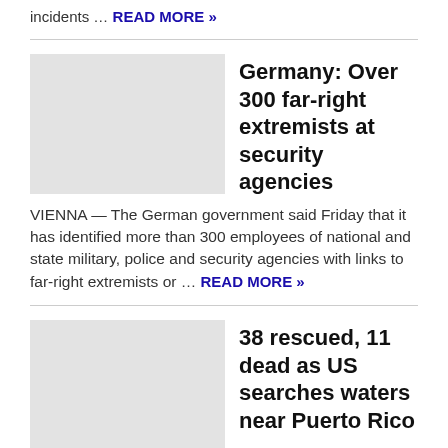incidents … READ MORE »
Germany: Over 300 far-right extremists at security agencies
[Figure (photo): Placeholder image for Germany article]
VIENNA — The German government said Friday that it has identified more than 300 employees of national and state military, police and security agencies with links to far-right extremists or … READ MORE »
38 rescued, 11 dead as US searches waters near Puerto Rico
[Figure (photo): Placeholder image for Puerto Rico article]
SAN JUAN, Puerto Rico — At least 38 people have been rescued and 11 bodies found as the U.S.